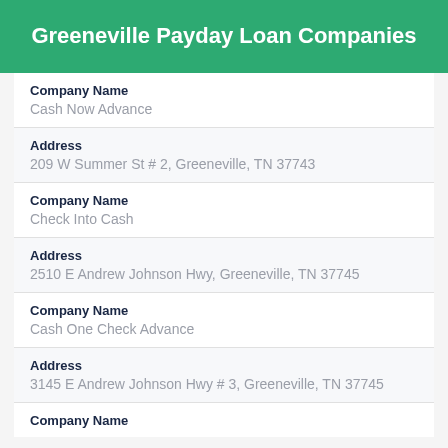Greeneville Payday Loan Companies
Company Name
Cash Now Advance
Address
209 W Summer St # 2, Greeneville, TN 37743
Company Name
Check Into Cash
Address
2510 E Andrew Johnson Hwy, Greeneville, TN 37745
Company Name
Cash One Check Advance
Address
3145 E Andrew Johnson Hwy # 3, Greeneville, TN 37745
Company Name